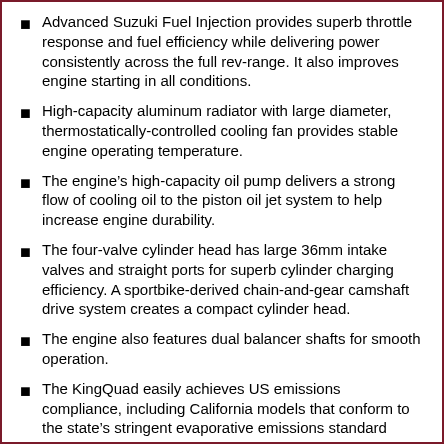Advanced Suzuki Fuel Injection provides superb throttle response and fuel efficiency while delivering power consistently across the full rev-range. It also improves engine starting in all conditions.
High-capacity aluminum radiator with large diameter, thermostatically-controlled cooling fan provides stable engine operating temperature.
The engine's high-capacity oil pump delivers a strong flow of cooling oil to the piston oil jet system to help increase engine durability.
The four-valve cylinder head has large 36mm intake valves and straight ports for superb cylinder charging efficiency. A sportbike-derived chain-and-gear camshaft drive system creates a compact cylinder head.
The engine also features dual balancer shafts for smooth operation.
The KingQuad easily achieves US emissions compliance, including California models that conform to the state's stringent evaporative emissions standard